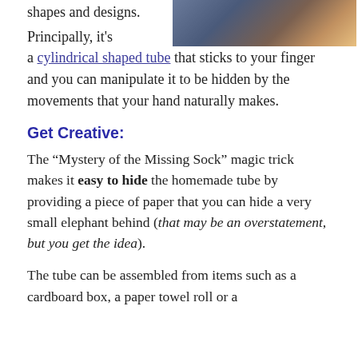[Figure (photo): A person seated, visible from shoulders up, with a reddish-brown surface in front of them, partial view at the top of the page]
shapes and designs. Principally, it's a cylindrical shaped tube that sticks to your finger and you can manipulate it to be hidden by the movements that your hand naturally makes.
Get Creative:
The “Mystery of the Missing Sock” magic trick makes it easy to hide the homemade tube by providing a piece of paper that you can hide a very small elephant behind (that may be an overstatement, but you get the idea).
The tube can be assembled from items such as a cardboard box, a paper towel roll or a